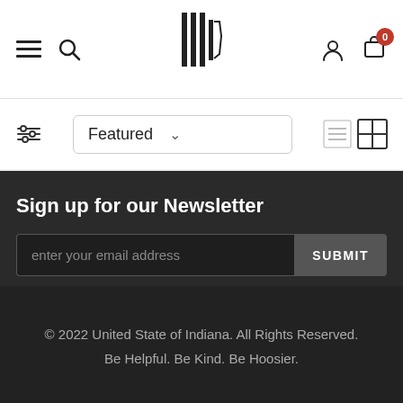Navigation header with hamburger menu, search, logo, user account, and cart (0)
[Figure (screenshot): Filter/sort bar with filter icon on left, Featured dropdown in center, and list/grid view toggle icons on right]
Sign up for our Newsletter
enter your email address
SUBMIT
© 2022 United State of Indiana. All Rights Reserved. Be Helpful. Be Kind. Be Hoosier.